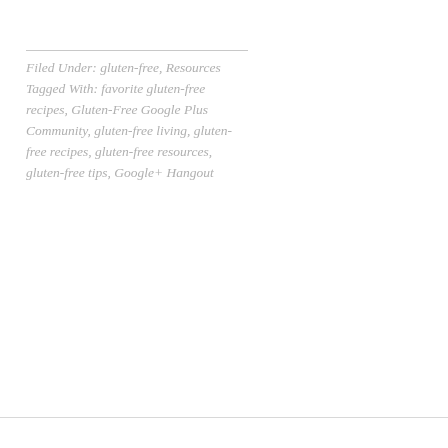Filed Under: gluten-free, Resources Tagged With: favorite gluten-free recipes, Gluten-Free Google Plus Community, gluten-free living, gluten-free recipes, gluten-free resources, gluten-free tips, Google+ Hangout